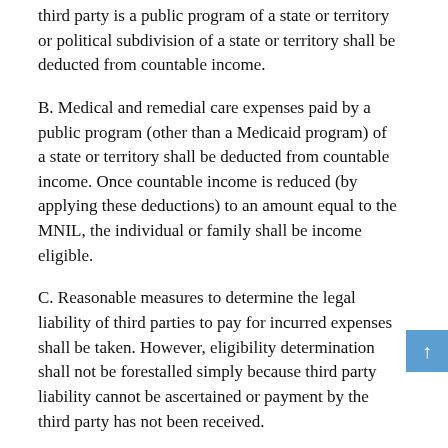third party is a public program of a state or territory or political subdivision of a state or territory shall be deducted from countable income.
B. Medical and remedial care expenses paid by a public program (other than a Medicaid program) of a state or territory shall be deducted from countable income. Once countable income is reduced (by applying these deductions) to an amount equal to the MNIL, the individual or family shall be income eligible.
C. Reasonable measures to determine the legal liability of third parties to pay for incurred expenses shall be taken. However, eligibility determination shall not be forestalled simply because third party liability cannot be ascertained or payment by the third party has not been received.
D. The time standards for reaching decisions on Medicaid eligibility must be met when determining eligibility through no more than 90 days for applicants who are...